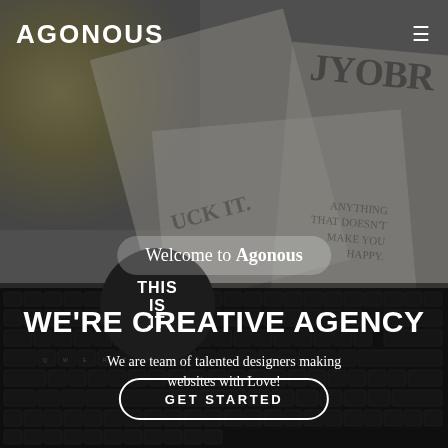AGONOUS
[Figure (photo): Full-page hero background showing a desk scene with newspaper clippings, yellow flowers, and a keyboard, overlaid with a dark semi-transparent filter]
Welcome to Agonous
WE'RE CREATIVE AGENCY
We are team of talented designers making websites with Love!
GET STARTED